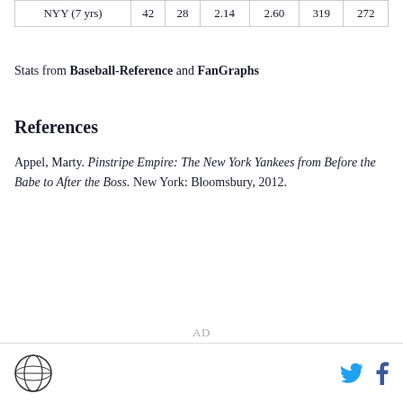| NYY (7 yrs) | 42 | 28 | 2.14 | 2.60 | 319 | 272 |
Stats from Baseball-Reference and FanGraphs
References
Appel, Marty. Pinstripe Empire: The New York Yankees from Before the Babe to After the Boss. New York: Bloomsbury, 2012.
AD
[logo] [twitter] [facebook]